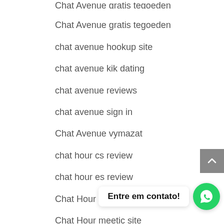Chat Avenue gratis tegoeden
chat avenue hookup site
chat avenue kik dating
chat avenue reviews
chat avenue sign in
Chat Avenue vymazat
chat hour cs review
chat hour es review
Chat Hour frauen app
Chat Hour meetic site
Chat Hour revi
chat online dating
chat page fr review (partial)
Entre em contato!